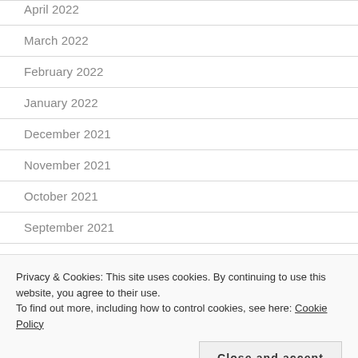April 2022
March 2022
February 2022
January 2022
December 2021
November 2021
October 2021
September 2021
August 2021
Privacy & Cookies: This site uses cookies. By continuing to use this website, you agree to their use.
To find out more, including how to control cookies, see here: Cookie Policy
Close and accept
April 2021